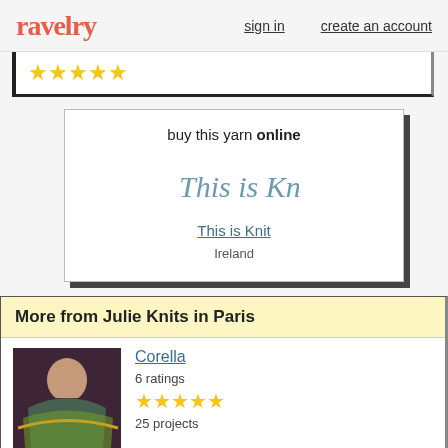ravelry   sign in   create an account
[Figure (other): Five gold star rating icons]
buy this yarn online
[Figure (logo): This is Knit cursive logo in blue]
This is Knit
Ireland
More from Julie Knits in Paris
[Figure (photo): Person holding a colorful shawl]
Corella
6 ratings
25 projects